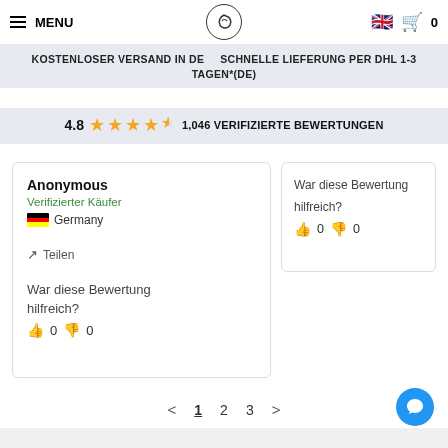MENU  [logo]  Carola S.  [UK flag] 0
KOSTENLOSER VERSAND IN DE   SCHNELLE LIEFERUNG PER DHL 1-3 TAGEN*(DE)
4.8 ★★★★½ 1,046 VERIFIZIERTE BEWERTUNGEN
Anonymous
Verifizierter Käufer
Germany
↗ Teilen
War diese Bewertung hilfreich? 👍 0 👎 0
War diese Bewertung hilfreich? 👍 0 👎 0
< 1 2 3 >